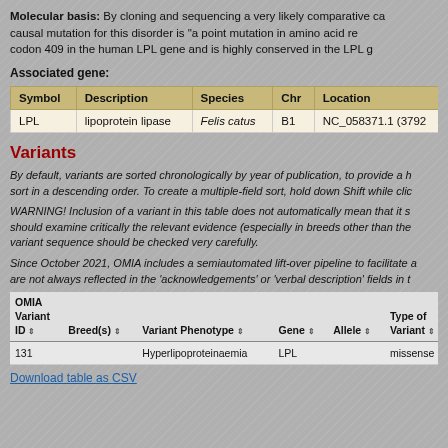Molecular basis: By cloning and sequencing a very likely comparative ca... causal mutation for this disorder is "a point mutation in amino acid re... codon 409 in the human LPL gene and is highly conserved in the LPL g...
Associated gene:
| Symbol | Description | Species | Chr | Location |
| --- | --- | --- | --- | --- |
| LPL | lipoprotein lipase | Felis catus | B1 | NC_058371.1 (3792... |
Variants
By default, variants are sorted chronologically by year of publication, to provide a h... sort in a descending order. To create a multiple-field sort, hold down Shift while clic...
WARNING! Inclusion of a variant in this table does not automatically mean that it s... should examine critically the relevant evidence (especially in breeds other than the... variant sequence should be checked very carefully.
Since October 2021, OMIA includes a semiautomated lift-over pipeline to facilitate a... are not always reflected in the 'acknowledgements' or 'verbal description' fields in t...
| OMIA Variant ID | Breed(s) | Variant Phenotype | Gene | Allele | Type of Variant |
| --- | --- | --- | --- | --- | --- |
| 131 |  | Hyperlipoproteinaemia | LPL |  | missense |
Download table as CSV